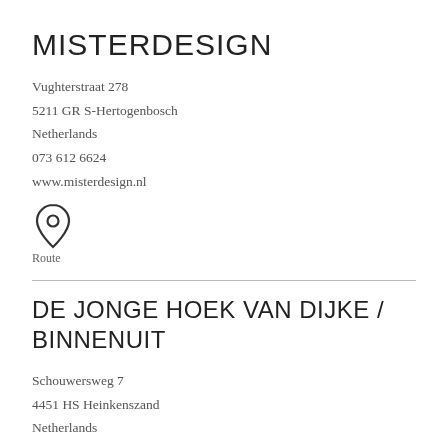MISTERDESIGN
Vughterstraat 278
5211 GR S-Hertogenbosch
Netherlands
073 612 6624
www.misterdesign.nl
[Figure (illustration): Map pin / location icon (outline style)]
Route
DE JONGE HOEK VAN DIJKE / BINNENUIT
Schouwersweg 7
4451 HS Heinkenszand
Netherlands
0113 561 482